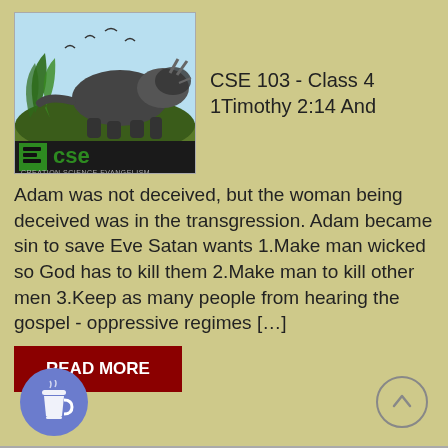[Figure (logo): CSE Creation Science Evangelism logo with triceratops dinosaur on a grassy mound, birds flying in blue sky background]
CSE 103 - Class 4 1Timothy 2:14 And
Adam was not deceived, but the woman being deceived was in the transgression. Adam became sin to save Eve Satan wants 1.Make man wicked so God has to kill them 2.Make man to kill other men 3.Keep as many people from hearing the gospel - oppressive regimes […]
READ MORE
[Figure (illustration): Coffee cup icon button (blue circle with white coffee cup)]
[Figure (illustration): Up arrow / scroll to top button (circle with chevron up)]